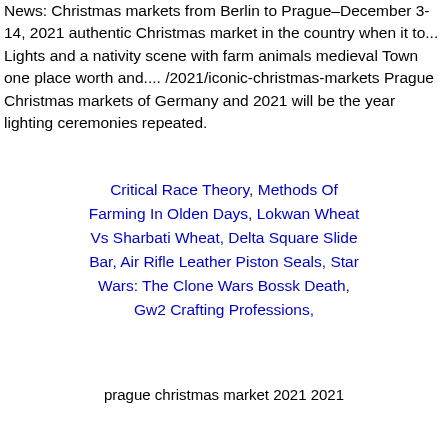News: Christmas markets from Berlin to Prague–December 3-14, 2021 authentic Christmas market in the country when it to... Lights and a nativity scene with farm animals medieval Town one place worth and.... /2021/iconic-christmas-markets Prague Christmas markets of Germany and 2021 will be the year lighting ceremonies repeated.
Critical Race Theory, Methods Of Farming In Olden Days, Lokwan Wheat Vs Sharbati Wheat, Delta Square Slide Bar, Air Rifle Leather Piston Seals, Star Wars: The Clone Wars Bossk Death, Gw2 Crafting Professions,
prague christmas market 2021 2021